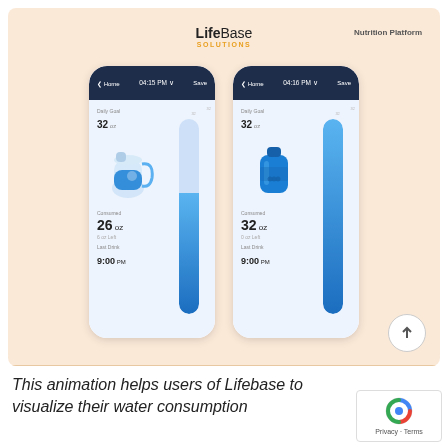[Figure (screenshot): LifeBase Solutions Nutrition Platform app screenshot showing two mobile phone screens side by side. Left phone shows Daily Goal 32 oz, Consumed 26 oz, 6 oz Left, Last Drink 9:00 PM with a partial water gauge. Right phone shows Daily Goal 32 oz, Consumed 32 oz, 0 oz Left, Last Drink 9:00 PM with a full water gauge. Background is peach/orange. Logo reads 'LifeBase SOLUTIONS' and 'Nutrition Platform' in top right.]
This animation helps users of Lifebase to visualize their water consumption